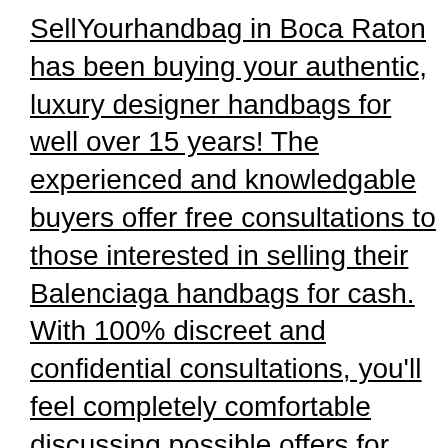SellYourhandbag in Boca Raton has been buying your authentic, luxury designer handbags for well over 15 years! The experienced and knowledgable buyers offer free consultations to those interested in selling their Balenciaga handbags for cash. With 100% discreet and confidential consultations, you'll feel completely comfortable discussing possible offers for your designer handbags and accessories. SellYourHandbag pays top dollar for your handbags if kept in new or like-new condition with original receipt, box or dust bag. If you're in the market to purchase a pre-owned Balenciaga handbag, then you've come to the right place. With a large selection of colorful, playful, lightweight, and stylish Balenciaga bags, you're bound to find exactly what